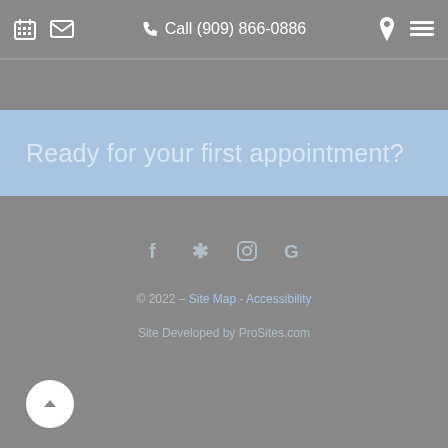Call (909) 866-0886
Ready for your first appointment?
[Figure (other): Social media icons: Facebook, Yelp, Instagram, Google]
© 2022 – Site Map - Accessibility
Site Developed by ProSites.com